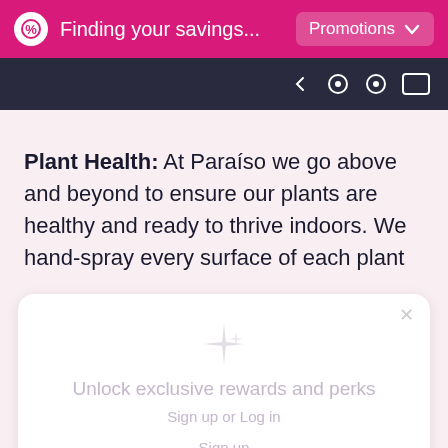Finding your savings...  Promotions
Plant Health: At Paraíso we go above and beyond to ensure our plants are healthy and ready to thrive indoors. We hand-spray every surface of each plant
[Figure (screenshot): Modal overlay card with sparkle icon, text 'Unlock exclusive rewards and perks', 'Sign up or Log in', 'Sign up', 'Already have an account? Sign in']